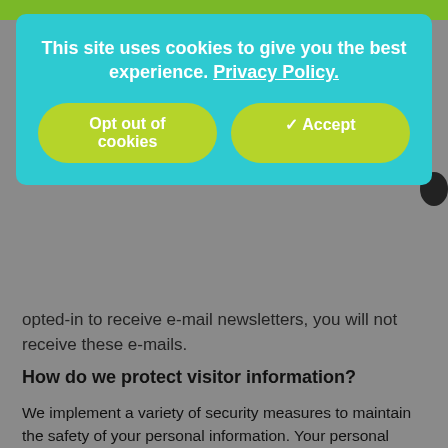[Figure (screenshot): Cookie consent banner overlay with teal/cyan background showing text 'This site uses cookies to give you the best experience. Privacy Policy.' and two yellow-green buttons: 'Opt out of cookies' and a checkmark 'Accept']
opted-in to receive e-mail newsletters, you will not receive these e-mails.
How do we protect visitor information?
We implement a variety of security measures to maintain the safety of your personal information. Your personal information is contained behind secured networks and is only accessible by a limited number of authorized personnel who have special access rights to such systems, and are required to keep the information confidential. When you place orders or access your personal information, we offer the use of a secure server.